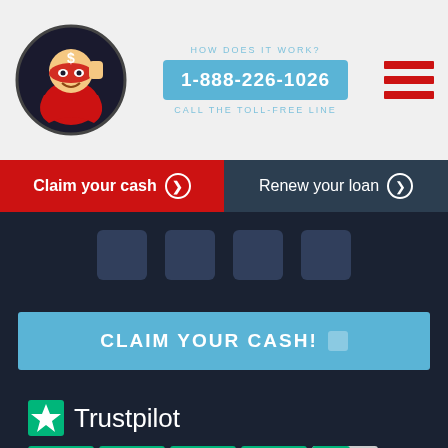[Figure (logo): Superhero mascot logo with dollar sign on head, red costume, circular bordered logo]
1-888-226-1026
[Figure (illustration): Hamburger menu icon with three red horizontal bars]
Claim your cash ❯
Renew your loan ❯
[Figure (illustration): Four dark square social media icon placeholders in a row]
CLAIM YOUR CASH!
[Figure (logo): Trustpilot logo with green star icon and Trustpilot text, followed by 4.5 star rating boxes (4 full green, 1 half), TrustScore 4.7 | 3,768 reviews]